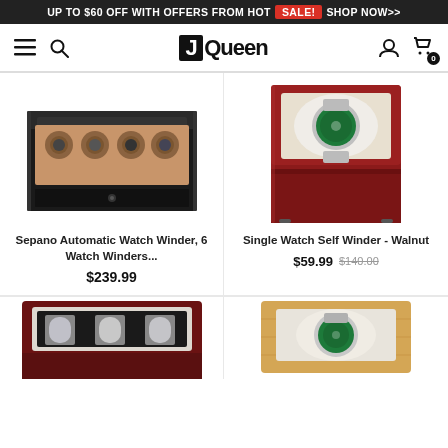UP TO $60 OFF WITH OFFERS FROM HOT SALE! SHOP NOW>>
[Figure (logo): JQueen logo with navigation icons (hamburger menu, search, user icon, cart with 0 badge)]
[Figure (photo): Sepano Automatic Watch Winder, 6 Watch Winders - black lacquered wood box with glass top, brown interior, multiple watch winders visible]
Sepano Automatic Watch Winder, 6 Watch Winders...
$239.99
[Figure (photo): Single Watch Self Winder - Walnut - red/cherry wood box with glass front window, showing a green-dial Rolex watch on white pillow]
Single Watch Self Winder - Walnut
$59.99 $140.00
[Figure (photo): Partial view of dark red/cherry watch winder box showing three watches with silver cases]
[Figure (photo): Partial view of light wood (maple/birch) single watch winder box showing green-dial Rolex watch]